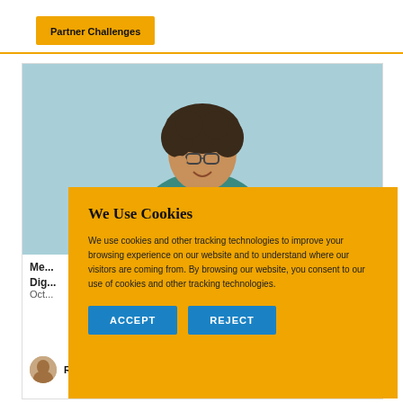Partner Challenges
[Figure (photo): Person with curly hair and glasses smiling, wearing a teal top, against a light blue background]
Me... Dig...
Oct...
RACHAEL DREW
We Use Cookies
We use cookies and other tracking technologies to improve your browsing experience on our website and to understand where our visitors are coming from. By browsing our website, you consent to our use of cookies and other tracking technologies.
ACCEPT
REJECT